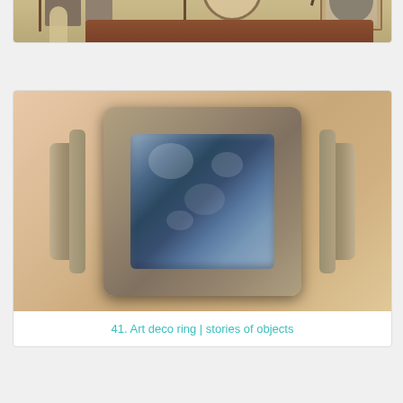[Figure (photo): Top portion of a card showing item #40, partially cropped at top]
40. Anchor ring | stories of objects
[Figure (photo): Close-up photo of an art deco ring with a rectangular blue-grey mottled stone set in a silver geometric stepped setting, worn on a finger]
41. Art deco ring | stories of objects
[Figure (photo): Interior of a living room with wall shelves holding decorative objects, a large round clock, a framed portrait of a man, a lamp, and leather seating]